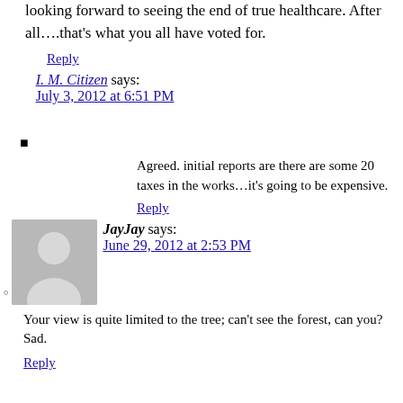looking forward to seeing the end of true healthcare. After all….that's what you all have voted for.
Reply
I. M. Citizen says:
July 3, 2012 at 6:51 PM
Agreed. initial reports are there are some 20 taxes in the works…it's going to be expensive.
Reply
JayJay says:
June 29, 2012 at 2:53 PM
Your view is quite limited to the tree; can't see the forest, can you?
Sad.
Reply